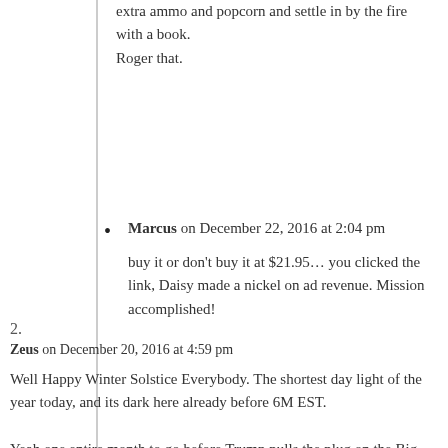extra ammo and popcorn and settle in by the fire with a book.
Roger that.
Marcus on December 22, 2016 at 2:04 pm
buy it or don't buy it at $21.95… you clicked the link, Daisy made a nickel on ad revenue. Mission accomplished!
2.
Zeus on December 20, 2016 at 4:59 pm
Well Happy Winter Solstice Everybody. The shortest day light of the year today, and its dark here already before 6M EST.
Yeah one entire month to go before Trump pulls the plug on the Big Swamp o Jan 20th. I also read when...